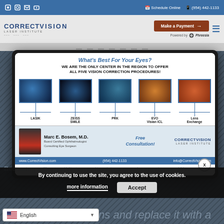Social icons | Schedule Online | (954) 442-1133
[Figure (logo): CorrectVision Laser Institute logo]
Make a Payment | Powered by Phreesia
[Figure (infographic): What's Best For Your Eyes? WE ARE THE ONLY CENTER IN THE REGION TO OFFER ALL FIVE VISION CORRECTION PROCEDURES! Showing LASIK, ZEISS SMILE, PRK, EVO Visian ICL, Lens Exchange. Marc E. Bosem, M.D. Board Certified Ophthalmologist, Consulting Eye Surgeon. Free Consultation! www.CorrectVision.com (954) 442-1133 info@CorrectVision.com]
By continuing to use the site, you agree to the use of cookies.
more information
Accept
English
lens and replace it with a